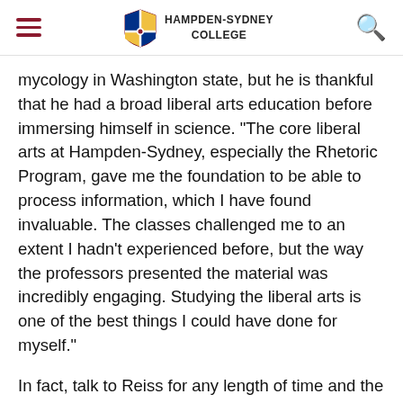Hampden-Sydney College
mycology in Washington state, but he is thankful that he had a broad liberal arts education before immersing himself in science. "The core liberal arts at Hampden-Sydney, especially the Rhetoric Program, gave me the foundation to be able to process information, which I have found invaluable. The classes challenged me to an extent I hadn't experienced before, but the way the professors presented the material was incredibly engaging. Studying the liberal arts is one of the best things I could have done for myself."
In fact, talk to Reiss for any length of time and the conversation may veer from Farm Bill amendments pending before Congress, to The Wealth of Nations by Scottish economist Adam Smith, to the Trivium